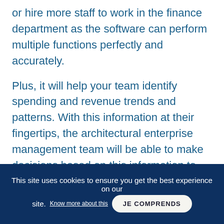or hire more staff to work in the finance department as the software can perform multiple functions perfectly and accurately.
Plus, it will help your team identify spending and revenue trends and patterns. With this information at their fingertips, the architectural enterprise management team will be able to make decisions based on this information to maintain the profitability of the enterprise.
This site uses cookies to ensure you get the best experience on our site. Know more about this JE COMPRENDS